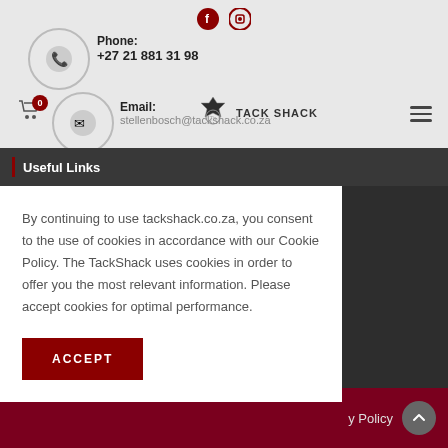[Figure (screenshot): Website header with social icons (Facebook, Instagram), phone icon circle, phone number, email circle, email address, Tack Shack logo, cart icon with badge showing 0, hamburger menu]
Useful Links
By continuing to use tackshack.co.za, you consent to the use of cookies in accordance with our Cookie Policy. The TackShack uses cookies in order to offer you the most relevant information. Please accept cookies for optimal performance.
ACCEPT
y Policy